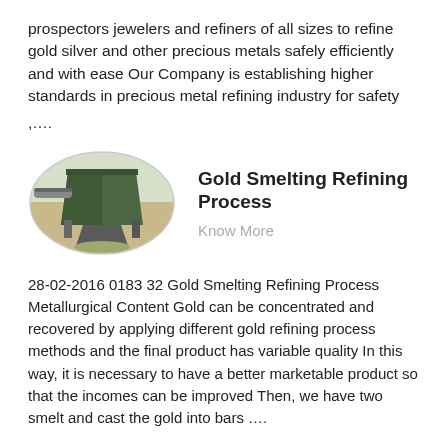prospectors jewelers and refiners of all sizes to refine gold silver and other precious metals safely efficiently and with ease Our Company is establishing higher standards in precious metal refining industry for safety ,....
[Figure (photo): Oval-shaped photo of a green industrial smelting or mining machine/hopper with material being processed, outdoors.]
Gold Smelting Refining Process
Know More
28-02-2016 0183 32 Gold Smelting Refining Process Metallurgical Content Gold can be concentrated and recovered by applying different gold refining process methods and the final product has variable quality In this way, it is necessary to have a better marketable product so that the incomes can be improved Then, we have two smelt and cast the gold into bars ....